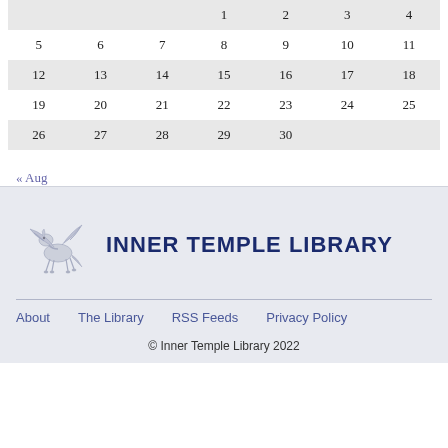| Sun | Mon | Tue | Wed | Thu | Fri | Sat |
| --- | --- | --- | --- | --- | --- | --- |
|  |  |  | 1 | 2 | 3 | 4 |
| 5 | 6 | 7 | 8 | 9 | 10 | 11 |
| 12 | 13 | 14 | 15 | 16 | 17 | 18 |
| 19 | 20 | 21 | 22 | 23 | 24 | 25 |
| 26 | 27 | 28 | 29 | 30 |  |  |
« Aug
[Figure (logo): Inner Temple Library logo with pegasus and text INNER TEMPLE LIBRARY]
About   The Library   RSS Feeds   Privacy Policy
© Inner Temple Library 2022